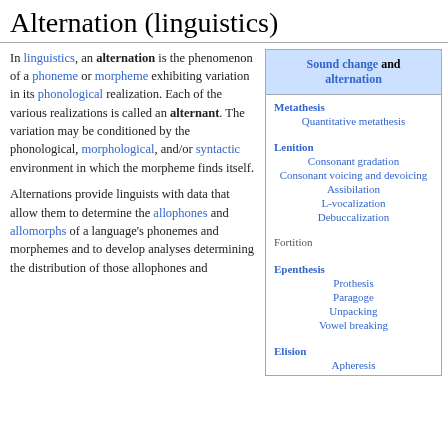Alternation (linguistics)
In linguistics, an alternation is the phenomenon of a phoneme or morpheme exhibiting variation in its phonological realization. Each of the various realizations is called an alternant. The variation may be conditioned by the phonological, morphological, and/or syntactic environment in which the morpheme finds itself.
Alternations provide linguists with data that allow them to determine the allophones and allomorphs of a language's phonemes and morphemes and to develop analyses determining the distribution of those allophones and allomorphs.
| Sound change and alternation |
| --- |
| Metathesis |
| Quantitative metathesis |
| Lenition |
| Consonant gradation |
| Consonant voicing and devoicing |
| Assibilation |
| L-vocalization |
| Debuccalization |
| Fortition |
| Epenthesis |
| Prothesis |
| Paragoge |
| Unpacking |
| Vowel breaking |
| Elision |
| Apheresis |